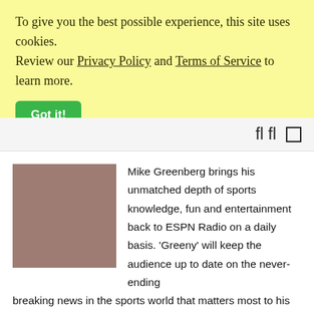To give you the best possible experience, this site uses cookies. Review our Privacy Policy and Terms of Service to learn more.
Got it!
[Figure (other): Navigation bar with search and menu icons on right side]
[Figure (photo): Placeholder image in mauve/brownish-rose color representing Mike Greenberg]
Mike Greenberg brings his unmatched depth of sports knowledge, fun and entertainment back to ESPN Radio on a daily basis. 'Greeny' will keep the audience up to date on the never-ending breaking news in the sports world that matters most to his listeners. He'll be joined regularly by the biggest names in the game covering all angles of the sports world. If it matters in sports, it matters to Greeny. This is the home for hourly podcasts of the...